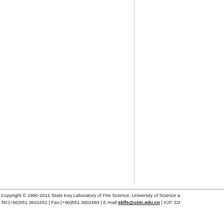Copyright © 1990-2011 State Key Laboratory of Fire Science, University of Science a… Tel:(+86)551 3601651 | Fax:(+86)551 3601669 | E-mail:sklfs@ustc.edu.cn | ICP: D2…